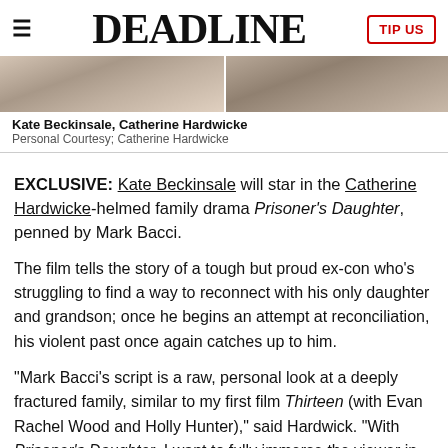DEADLINE | TIP US
[Figure (photo): Two side-by-side photos of Kate Beckinsale and Catherine Hardwicke, partially visible, cropped at top]
Kate Beckinsale, Catherine Hardwicke
Personal Courtesy; Catherine Hardwicke
EXCLUSIVE: Kate Beckinsale will star in the Catherine Hardwicke-helmed family drama Prisoner's Daughter, penned by Mark Bacci.
The film tells the story of a tough but proud ex-con who's struggling to find a way to reconnect with his only daughter and grandson; once he begins an attempt at reconciliation, his violent past once again catches up to him.
"Mark Bacci's script is a raw, personal look at a deeply fractured family, similar to my first film Thirteen (with Evan Rachel Wood and Holly Hunter)," said Hardwick. "With Prisoner's Daughter, I want to fully immerse the viewer in Kate's character's intense world as she, her father and her young son try to heal generational